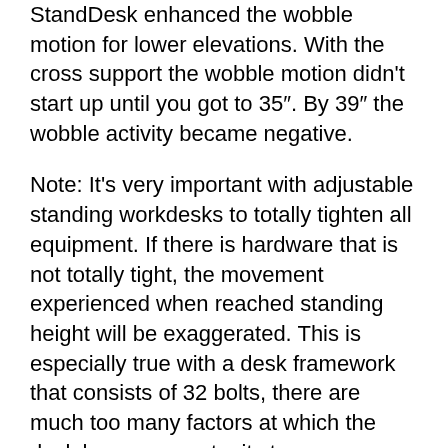StandDesk enhanced the wobble motion for lower elevations. With the cross support the wobble motion didn't start up until you got to 35″. By 39″ the wobble activity became negative.
Note: It's very important with adjustable standing workdesks to totally tighten all equipment. If there is hardware that is not totally tight, the movement experienced when reached standing height will be exaggerated. This is especially true with a desk framework that consists of 32 bolts, there are much too many factors at which the desk has an opportunity to move.
Conclusion